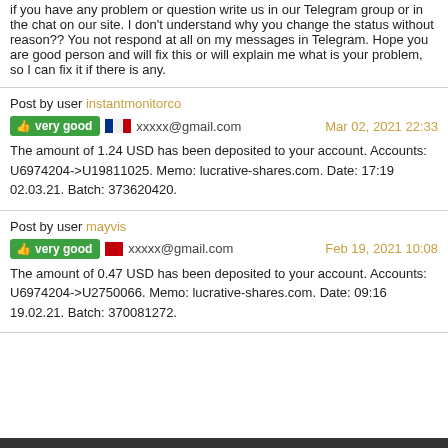if you have any problem or question write us in our Telegram group or in the chat on our site. I don't understand why you change the status without reason?? You not respond at all on my messages in Telegram. Hope you are good person and will fix this or will explain me what is your problem, so I can fix it if there is any.
Post by user instantmonitorco
very good  xxxxx@gmail.com  Mar 02, 2021 22:33
The amount of 1.24 USD has been deposited to your account. Accounts: U6974204->U19811025. Memo: lucrative-shares.com. Date: 17:19 02.03.21. Batch: 373620420.
Post by user mayvis
very good  xxxxx@gmail.com  Feb 19, 2021 10:08
The amount of 0.47 USD has been deposited to your account. Accounts: U6974204->U2750066. Memo: lucrative-shares.com. Date: 09:16 19.02.21. Batch: 370081272.